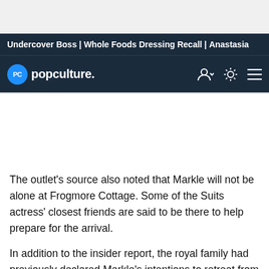Undercover Boss | Whole Foods Dressing Recall | Anastasia
[Figure (logo): PopCulture.com logo with PC circle icon and navigation icons]
The outlet's source also noted that Markle will not be alone at Frogmore Cottage. Some of the Suits actress' closest friends are said to be there to help prepare for the arrival.
In addition to the insider report, the royal family had previously declared Markle's intentions to retreat from the